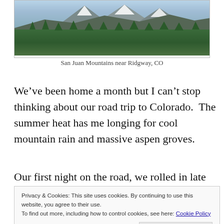[Figure (photo): Panoramic photo of San Juan Mountains near Ridgway, CO showing mountain peaks with snow, dense green forest in the foreground]
San Juan Mountains near Ridgway, CO
We've been home a month but I can't stop thinking about our road trip to Colorado.  The summer heat has me longing for cool mountain rain and massive aspen groves.
Our first night on the road, we rolled in late and found a
Privacy & Cookies: This site uses cookies. By continuing to use this website, you agree to their use. To find out more, including how to control cookies, see here: Cookie Policy
Close and accept
National Monument.  Dinosaur fossils still embedded in